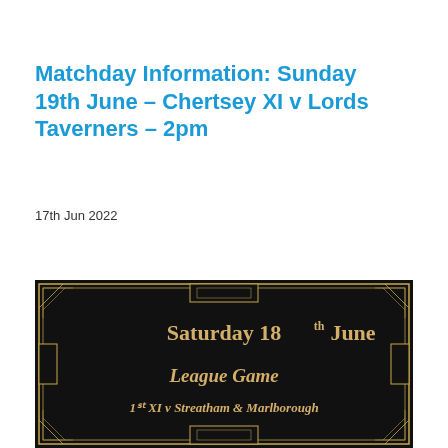Matchday Information: Sunday 19th June - Chertsey XI v Lords Taverners - 2pm
17th Jun 2022
[Figure (illustration): Art deco style black and gold decorative frame/poster showing text: Saturday 18th June, League Game, 1st XI v Streatham & Marlborough]